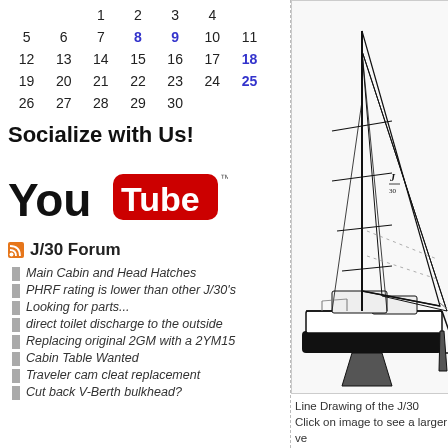|  |  | 1 | 2 | 3 | 4 |
| 5 | 6 | 7 | 8 | 9 | 10 | 11 |
| 12 | 13 | 14 | 15 | 16 | 17 | 18 |
| 19 | 20 | 21 | 22 | 23 | 24 | 25 |
| 26 | 27 | 28 | 29 | 30 |  |  |
Socialize with Us!
[Figure (logo): YouTube logo]
J/30 Forum
Main Cabin and Head Hatches
PHRF rating is lower than other J/30's
Looking for parts...
direct toilet discharge to the outside
Replacing original 2GM with a 2YM15
Cabin Table Wanted
Traveler cam cleat replacement
Cut back V-Berth bulkhead?
[Figure (illustration): Line drawing of the J/30 sailboat showing side profile with mast, sails, hull, and J/30 logo]
Line Drawing of the J/30
Click on image to see a larger ve